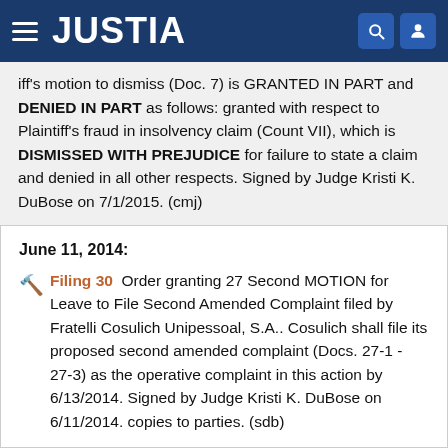JUSTIA
...iff's motion to dismiss (Doc. 7) is GRANTED IN PART and DENIED IN PART as follows: granted with respect to Plaintiff's fraud in insolvency claim (Count VII), which is DISMISSED WITH PREJUDICE for failure to state a claim and denied in all other respects. Signed by Judge Kristi K. DuBose on 7/1/2015. (cmj)
June 11, 2014:
Filing 30  Order granting 27 Second MOTION for Leave to File Second Amended Complaint filed by Fratelli Cosulich Unipessoal, S.A.. Cosulich shall file its proposed second amended complaint (Docs. 27-1 - 27-3) as the operative complaint in this action by 6/13/2014. Signed by Judge Kristi K. DuBose on 6/11/2014. copies to parties. (sdb)
Access additional case information on PACER